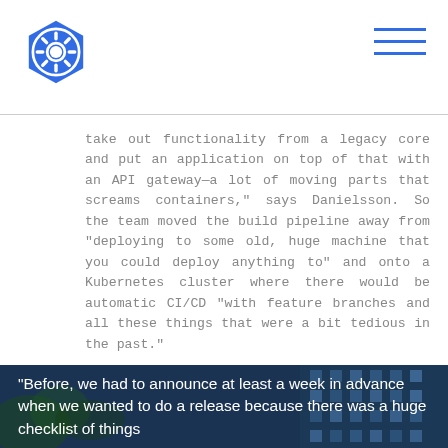Kubernetes logo and navigation menu
take out functionality from a legacy core and put an application on top of that with an API gateway—a lot of moving parts that screams containers," says Danielsson. So the team moved the build pipeline away from "deploying to some old, huge machine that you could deploy anything to" and onto a Kubernetes cluster where there would be automatic CI/CD "with feature branches and all these things that were a bit tedious in the past."
[Figure (photo): Dark blue photo of building and foliage with white quote text overlay reading: "Before, we had to announce at least a week in advance when we wanted to do a release because there was a huge checklist of things"]